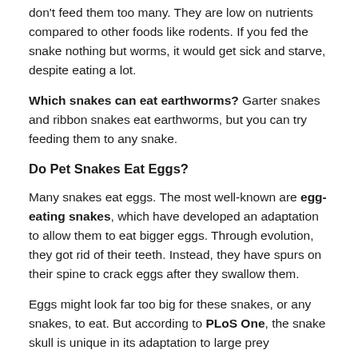don't feed them too many. They are low on nutrients compared to other foods like rodents. If you fed the snake nothing but worms, it would get sick and starve, despite eating a lot.
Which snakes can eat earthworms? Garter snakes and ribbon snakes eat earthworms, but you can try feeding them to any snake.
Do Pet Snakes Eat Eggs?
Many snakes eat eggs. The most well-known are egg-eating snakes, which have developed an adaptation to allow them to eat bigger eggs. Through evolution, they got rid of their teeth. Instead, they have spurs on their spine to crack eggs after they swallow them.
Eggs might look far too big for these snakes, or any snakes, to eat. But according to PLoS One, the snake skull is unique in its adaptation to large prey